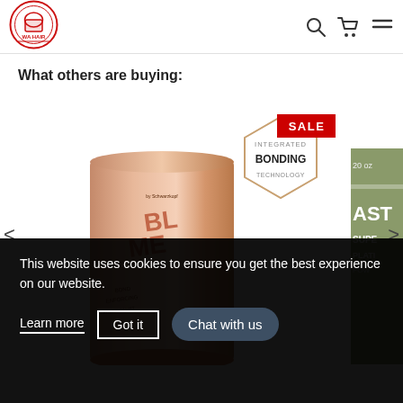[Figure (logo): WA HAIR logo — circular red and white logo with hair/beauty icon and 'WA HAIR' text]
[Figure (screenshot): Navigation icons: search (magnifying glass), shopping cart, hamburger menu]
What others are buying:
[Figure (photo): Schwarzkopf BlondMe Bond Enforcer bleaching powder product in rose-gold cylindrical container. Hexagonal badge with 'INTEGRATED BONDING TECHNOLOGY' text overlaid. SALE badge visible top right. Partial product on right edge showing 'AST SUPER PLATI POWI 20 oz'.]
This website uses cookies to ensure you get the best experience on our website.
Learn more
Got it
Chat with us
BlondMe Bond Enforcer Premium ...  Blondi Pl...